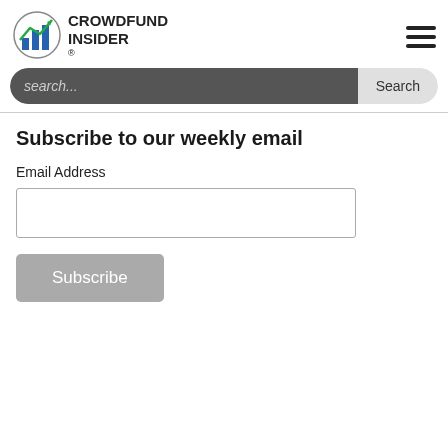[Figure (logo): Crowdfund Insider logo with bar chart icon and text]
[Figure (other): Hamburger menu icon with three horizontal lines]
search...
Search
Subscribe to our weekly email
Email Address
Subscribe